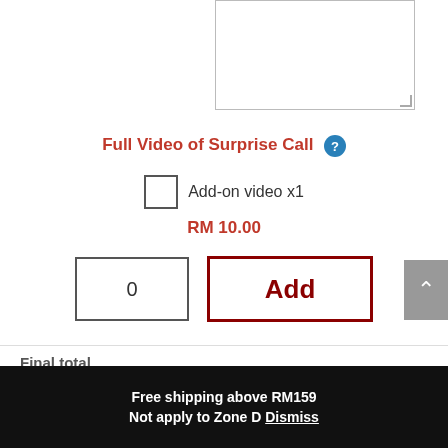[Figure (screenshot): A textarea input box, partially visible at top-right]
Full Video of Surprise Call
Add-on video x1
RM 10.00
0
Add
Final total
RM 69.00
Free shipping above RM159
Not apply to Zone D Dismiss